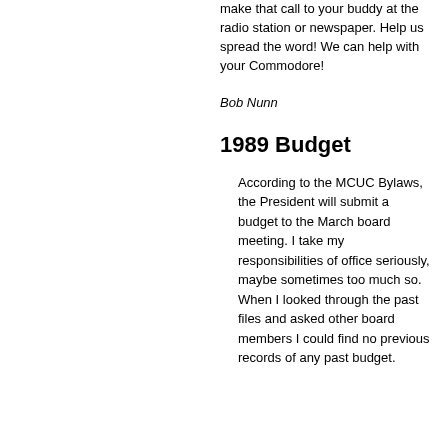make that call to your buddy at the radio station or newspaper. Help us spread the word! We can help with your Commodore!
Bob Nunn
1989 Budget
According to the MCUC Bylaws, the President will submit a budget to the March board meeting. I take my responsibilities of office seriously, maybe sometimes too much so. When I looked through the past files and asked other board members I could find no previous records of any past budget.